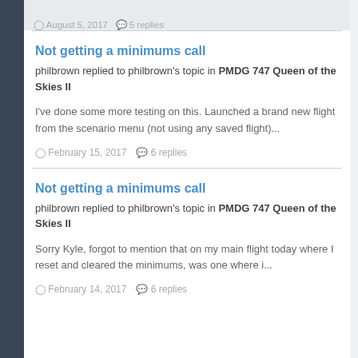[partially visible] ... replies
Not getting a minimums call
philbrown replied to philbrown's topic in PMDG 747 Queen of the Skies II
I've done some more testing on this. Launched a brand new flight from the scenario menu (not using any saved flight)...
February 15, 2017  6 replies
Not getting a minimums call
philbrown replied to philbrown's topic in PMDG 747 Queen of the Skies II
Sorry Kyle, forgot to mention that on my main flight today where I reset and cleared the minimums, was one where i...
February 14, 2017  6 replies